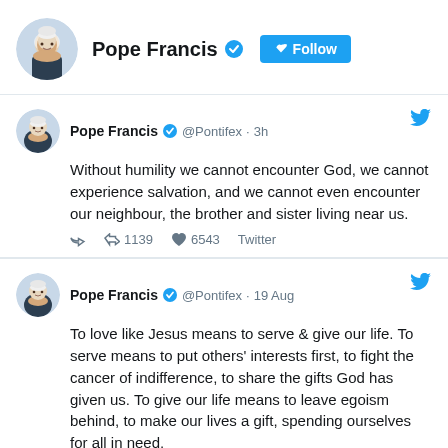Pope Francis @Pontifex Follow
Without humility we cannot encounter God, we cannot experience salvation, and we cannot even encounter our neighbour, the brother and sister living near us.
1139 retweets 6543 likes Twitter
To love like Jesus means to serve & give our life. To serve means to put others' interests first, to fight the cancer of indifference, to share the gifts God has given us. To give our life means to leave egoism behind, to make our lives a gift, spending ourselves for all in need.